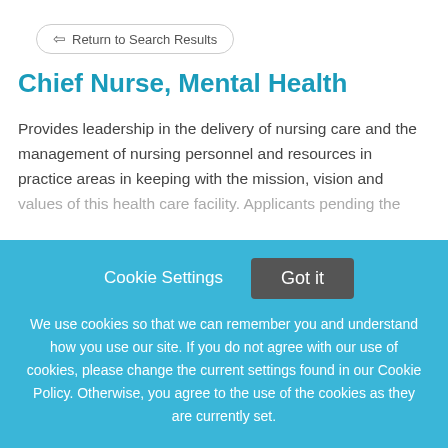Return to Search Results
Chief Nurse, Mental Health
Provides leadership in the delivery of nursing care and the management of nursing personnel and resources in practice areas in keeping with the mission, vision and values of this health care facility. Applicants pending the
This job listing is no longer active.
Cookie Settings
Got it
We use cookies so that we can remember you and understand how you use our site. If you do not agree with our use of cookies, please change the current settings found in our Cookie Policy. Otherwise, you agree to the use of the cookies as they are currently set.